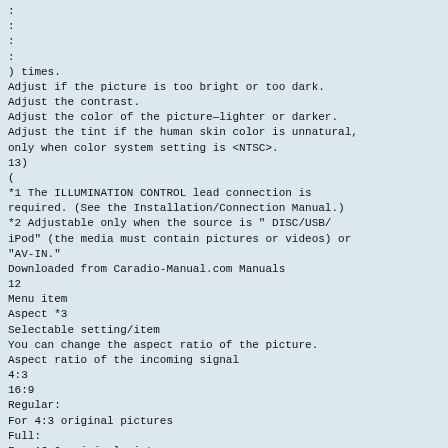:
:
:
:
) times.
Adjust if the picture is too bright or too dark.
Adjust the contrast.
Adjust the color of the picture—lighter or darker.
Adjust the tint if the human skin color is unnatural,
only when color system setting is <NTSC>.
13)
(
*1 The ILLUMINATION CONTROL lead connection is
required. (See the Installation/Connection Manual.)
*2 Adjustable only when the source is " DISC/USB/
iPod" (the media must contain pictures or videos) or
"AV-IN."
Downloaded from Caradio-Manual.com Manuals
12
Menu item
Aspect *3
Selectable setting/item
You can change the aspect ratio of the picture.
Aspect ratio of the incoming signal
4:3
16:9
Regular:
For 4:3 original pictures
Full:
For 16:9 original pictures
Disc
Clock
Display
Panorama: